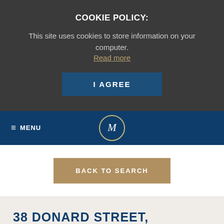COOKIE POLICY:
This site uses cookies to store information on your computer. Read more
I AGREE
≡ MENU  M
BACK TO SEARCH
38 DONARD STREET,